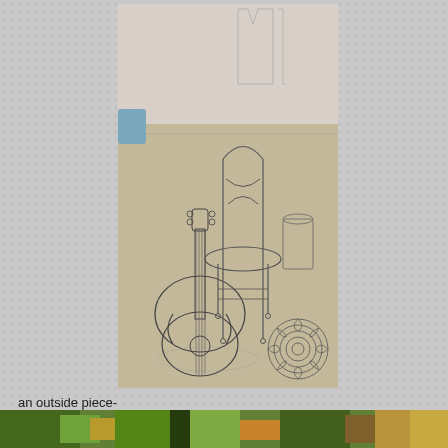[Figure (photo): Wire sculpture installation in a gallery space showing a guitar and chair forms made from thin wire, placed on a concrete floor with spiral wire element to the right. Other wire sculptural elements visible in background.]
an outside piece-
[Figure (photo): Partial view of a colorful outdoor or nature photograph strip at the bottom of the page, partially obscured.]